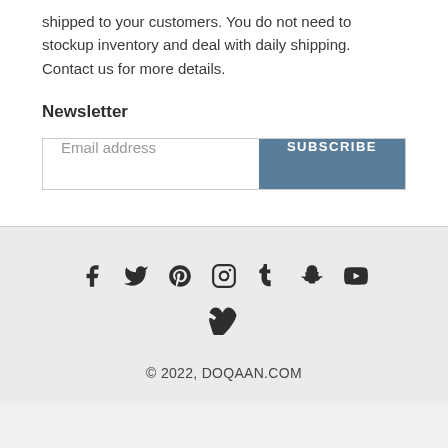shipped to your customers. You do not need to stockup inventory and deal with daily shipping. Contact us for more details.
Newsletter
Email address  SUBSCRIBE
Social media icons: Facebook, Twitter, Pinterest, Instagram, Tumblr, Snapchat, YouTube, Vimeo
© 2022, DOQAAN.COM